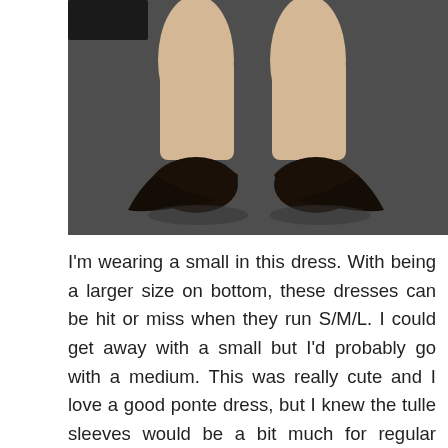[Figure (photo): Close-up photo of a person's lower legs and feet wearing black pointed-toe high heel pumps, standing on a dark carpeted floor.]
I'm wearing a small in this dress. With being a larger size on bottom, these dresses can be hit or miss when they run S/M/L. I could get away with a small but I'd probably go with a medium. This was really cute and I love a good ponte dress, but I knew the tulle sleeves would be a bit much for regular wear. Which is why I was glad they made a plain version of this, which is